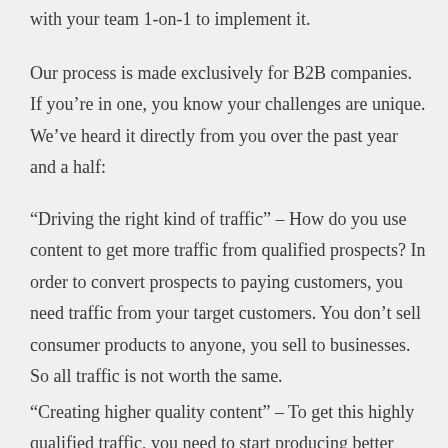with your team 1-on-1 to implement it.
Our process is made exclusively for B2B companies. If you're in one, you know your challenges are unique. We've heard it directly from you over the past year and a half:
“Driving the right kind of traffic” – How do you use content to get more traffic from qualified prospects? In order to convert prospects to paying customers, you need traffic from your target customers. You don’t sell consumer products to anyone, you sell to businesses. So all traffic is not worth the same.
“Creating higher quality content” – To get this highly qualified traffic, you need to start producing better quality content, not more top 10 lists or clickbait articles. How?
“We have a distribution problem” – If you’re already producing what you consider pretty good content. How do you promote it to your target customers so that it gets traffic and leads?
There are more challenges that we cover, like converting traffic to